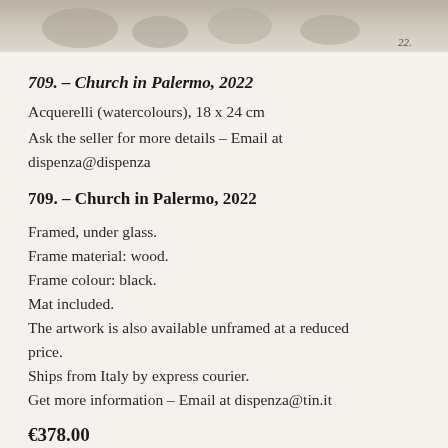[Figure (photo): Partial view of a watercolour painting showing soft shapes, with a handwritten annotation '22' in the lower right corner]
709. – Church in Palermo, 2022
Acquerelli (watercolours), 18 x 24 cm
Ask the seller for more details – Email at dispenza@dispenza
709. – Church in Palermo, 2022
Framed, under glass.
Frame material: wood.
Frame colour: black.
Mat included.
The artwork is also available unframed at a reduced price.
Ships from Italy by express courier.
Get more information – Email at dispenza@tin.it
€378.00